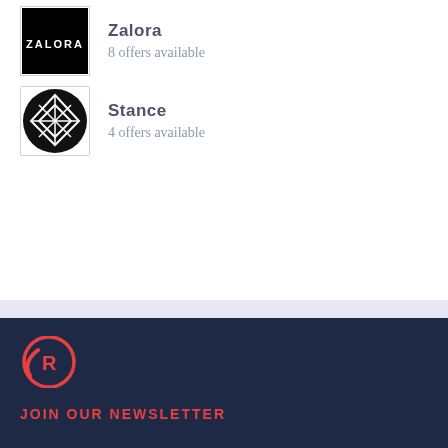[Figure (logo): Zalora brand logo — white ZALORA text on black rectangle background]
Zalora
8 offers available
[Figure (logo): Stance brand logo — black circle with white diamond-lattice pattern]
Stance
4 offers available
[Figure (logo): Rappler logo — red circular R icon with orbital swoosh]
JOIN OUR NEWSLETTER